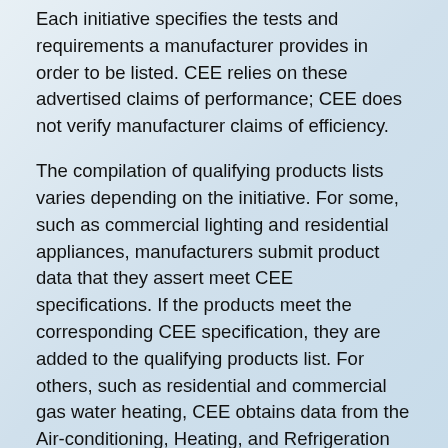Each initiative specifies the tests and requirements a manufacturer provides in order to be listed. CEE relies on these advertised claims of performance; CEE does not verify manufacturer claims of efficiency.
The compilation of qualifying products lists varies depending on the initiative. For some, such as commercial lighting and residential appliances, manufacturers submit product data that they assert meet CEE specifications. If the products meet the corresponding CEE specification, they are added to the qualifying products list. For others, such as residential and commercial gas water heating, CEE obtains data from the Air-conditioning, Heating, and Refrigeration Institute (AHRI) and uses that data to determine which products meet the specifications and should be included in the qualifying products lists.
CEE compiles manufacturer submissions into qualifying product lists for members to use. That's why it's wrong to say that a product has been certified or rated by CEE, or to